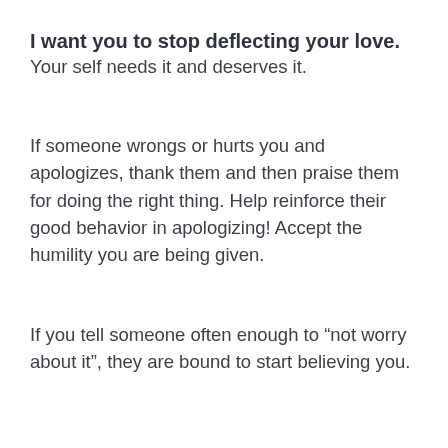I want you to stop deflecting your love.
Your self needs it and deserves it.
If someone wrongs or hurts you and apologizes, thank them and then praise them for doing the right thing. Help reinforce their good behavior in apologizing! Accept the humility you are being given.
If you tell someone often enough to “not worry about it”, they are bound to start believing you.